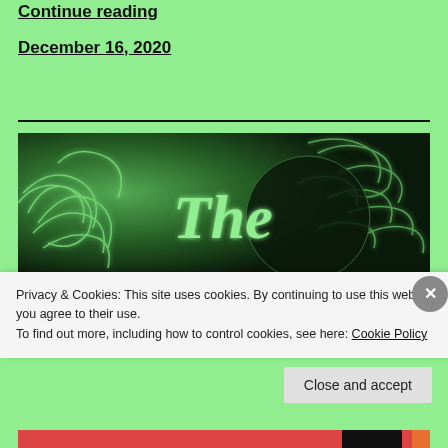Continue reading
December 16, 2020
[Figure (illustration): Dark green themed image with stylized script text 'The' in light green color, surrounded by abstract glowing green tendrils on a dark background]
Privacy & Cookies: This site uses cookies. By continuing to use this website, you agree to their use.
To find out more, including how to control cookies, see here: Cookie Policy
Close and accept